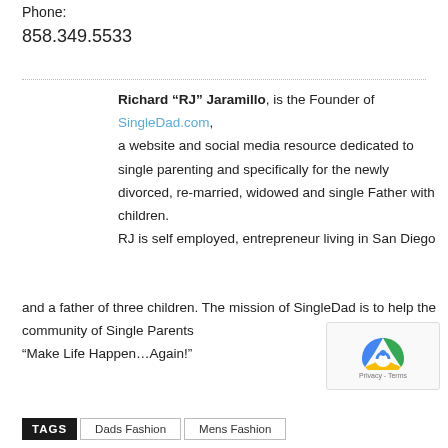Phone:
858.349.5533
Richard “RJ” Jaramillo, is the Founder of SingleDad.com, a website and social media resource dedicated to single parenting and specifically for the newly divorced, re-married, widowed and single Father with children. RJ is self employed, entrepreneur living in San Diego and a father of three children. The mission of SingleDad is to help the community of Single Parents “Make Life Happen…Again!”
TAGS  Dads Fashion  Mens Fashion